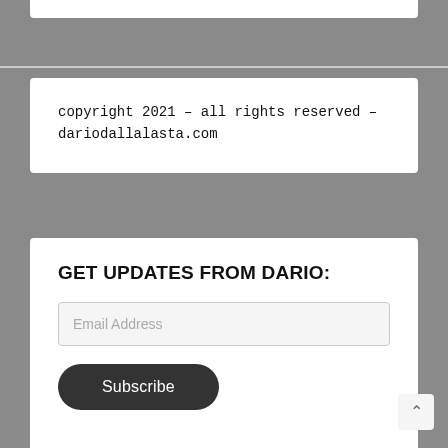copyright 2021 – all rights reserved – dariodallalasta.com
GET UPDATES FROM DARIO:
Email Address
Subscribe